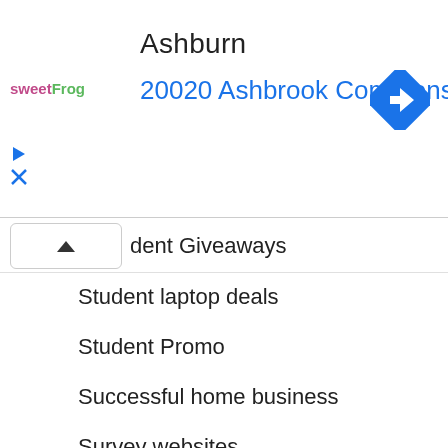[Figure (screenshot): Advertisement banner showing sweetFrog logo, 'Ashburn' city name, '20020 Ashbrook Commons Pla...' address in blue, and a blue navigation diamond icon on the right. Below the address are a play button and close (X) button in blue.]
dent Giveaways
Student laptop deals
Student Promo
Successful home business
Survey websites
Surveys for cash
Surveys for money
Sweepstakes
Totally free stuff
Trade Show
Trade Show Giveaways